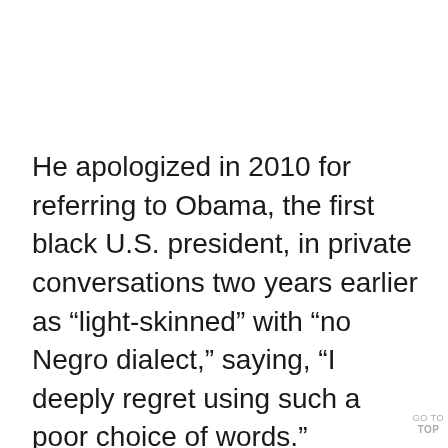He apologized in 2010 for referring to Obama, the first black U.S. president, in private conversations two years earlier as “light-skinned” with “no Negro dialect,” saying, “I deeply regret using such a poor choice of words.”
Reid became a Mormon as a young man and eventually became the highest-ranking member of the Church of Jes
GO TO TOP